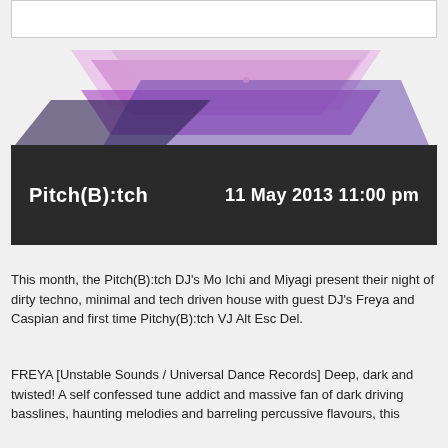[Figure (illustration): Event banner for Pitch(B):tch showing colorful geometric triangles in pink and purple on a light background (top portion), and a dark banner bar displaying the event name 'Pitch(B):tch' and date '11 May 2013 11:00 pm' in white text on a dark background.]
This month, the Pitch(B):tch DJ's Mo Ichi and Miyagi present their night of dirty techno, minimal and tech driven house with guest DJ's Freya and Caspian and first time Pitchy(B):tch VJ Alt Esc Del.
FREYA [Unstable Sounds / Universal Dance Records] Deep, dark and twisted! A self confessed tune addict and massive fan of dark driving basslines, haunting melodies and barreling percussive flavours, this